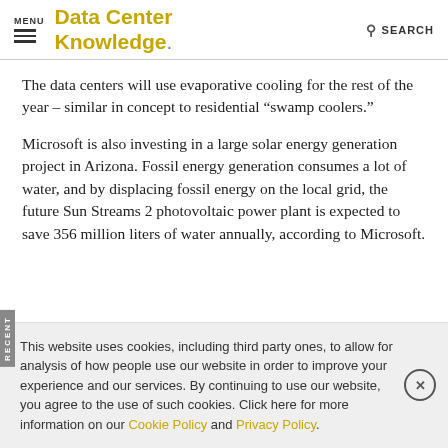MENU | DataCenter Knowledge. | SEARCH
The data centers will use evaporative cooling for the rest of the year – similar in concept to residential “swamp coolers.”
Microsoft is also investing in a large solar energy generation project in Arizona. Fossil energy generation consumes a lot of water, and by displacing fossil energy on the local grid, the future Sun Streams 2 photovoltaic power plant is expected to save 356 million liters of water annually, according to Microsoft.
This website uses cookies, including third party ones, to allow for analysis of how people use our website in order to improve your experience and our services. By continuing to use our website, you agree to the use of such cookies. Click here for more information on our Cookie Policy and Privacy Policy.